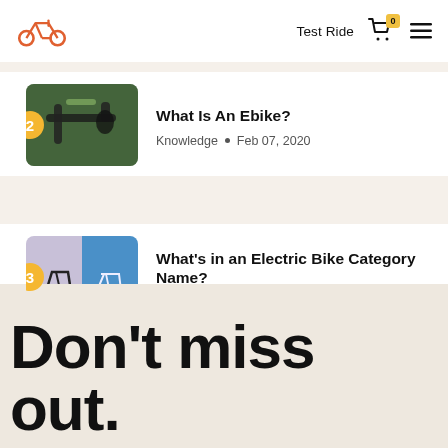Test Ride  [cart: 0]  [menu]
What Is An Ebike? | Knowledge • Feb 07, 2020
What's in an Electric Bike Category Name? | Knowledge • Oct 23, 2020
Don't miss out.